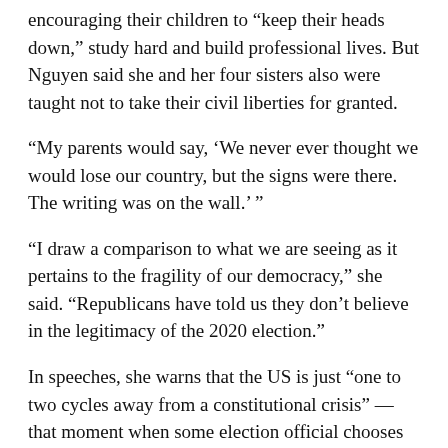encouraging their children to “keep their heads down,” study hard and build professional lives. But Nguyen said she and her four sisters also were taught not to take their civil liberties for granted.
“My parents would say, ‘We never ever thought we would lose our country, but the signs were there. The writing was on the wall.’ ”
“I draw a comparison to what we are seeing as it pertains to the fragility of our democracy,” she said. “Republicans have told us they don’t believe in the legitimacy of the 2020 election.”
In speeches, she warns that the US is just “one to two cycles away from a constitutional crisis” — that moment when some election official chooses to bypass the will of voters.